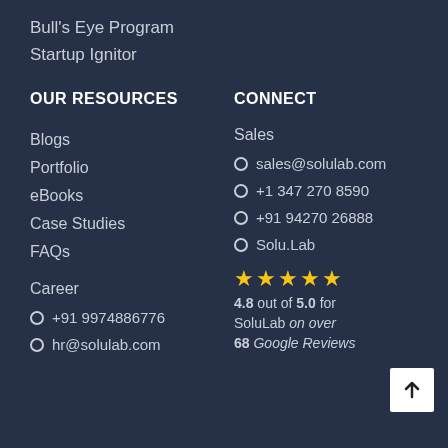Bull's Eye Program
Startup Ignitor
OUR RESOURCES
Blogs
Portfolio
eBooks
Case Studies
FAQs
Career
+91 9974886776
hr@solulab.com
CONNECT
Sales
sales@solulab.com
+1 347 270 8590
+91 94270 26888
Solu.Lab
4.8 out of 5.0 for SoluLab on over 68 Google Reviews